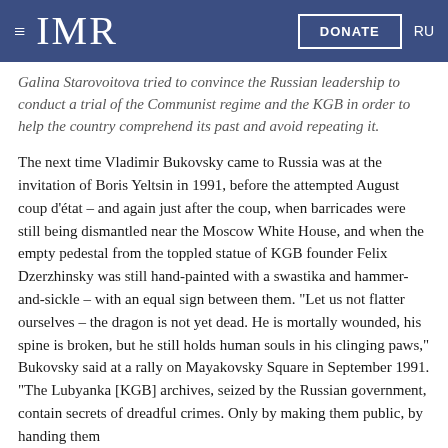≡ IMR   DONATE   RU
Galina Starovoitova tried to convince the Russian leadership to conduct a trial of the Communist regime and the KGB in order to help the country comprehend its past and avoid repeating it.
The next time Vladimir Bukovsky came to Russia was at the invitation of Boris Yeltsin in 1991, before the attempted August coup d'état – and again just after the coup, when barricades were still being dismantled near the Moscow White House, and when the empty pedestal from the toppled statue of KGB founder Felix Dzerzhinsky was still hand-painted with a swastika and hammer-and-sickle – with an equal sign between them. "Let us not flatter ourselves – the dragon is not yet dead. He is mortally wounded, his spine is broken, but he still holds human souls in his clinging paws," Bukovsky said at a rally on Mayakovsky Square in September 1991. "The Lubyanka [KGB] archives, seized by the Russian government, contain secrets of dreadful crimes. Only by making them public, by handing them